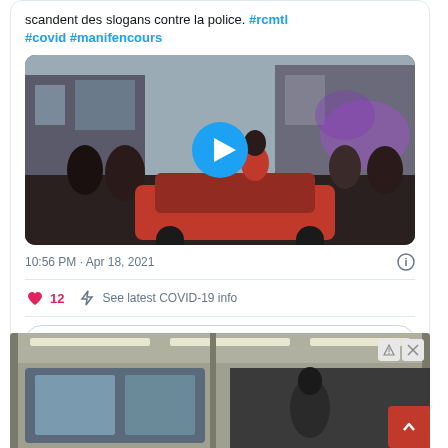scandent des slogans contre la police. #rcmtl #covid #manifencours
[Figure (screenshot): Twitter video thumbnail showing street protest scene with crowd, red car, smoke; Watch on Twitter badge and play button overlay]
10:56 PM · Apr 18, 2021
12  See latest COVID-19 info
Check out what's happening on Twitter
[Figure (photo): Bottom portion of a photo showing indoor transit station or building interior with ceiling lights]